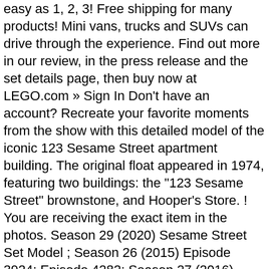easy as 1, 2, 3! Free shipping for many products! Mini vans, trucks and SUVs can drive through the experience. Find out more in our review, in the press release and the set details page, then buy now at LEGO.com » Sign In Don't have an account? Recreate your favorite moments from the show with this detailed model of the iconic 123 Sesame Street apartment building. The original float appeared in 1974, featuring two buildings: the "123 Sesame Street" brownstone, and Hooper's Store. ! You are receiving the exact item in the photos. Season 29 (2020) Sesame Street Set Model ; Season 26 (2015) Episode 3924; Episode 4282; Season 27 (2016) Season 10 (1998-1999) Sesame Street Episodes. Sesame Street is an American educational children's television series that combines live action, sketch comedy, animation and puppetry. Read honest and unbiased product reviews from our users. These cards are made from high quality cardstock. 123 Sesame street, cod. LEGO 21324 123 Sesame Street **BRAND NEW AND SEALED**. Sesame St Wiki. Fandom Apps Take your favorite fandoms with you and never miss a beat. If you search